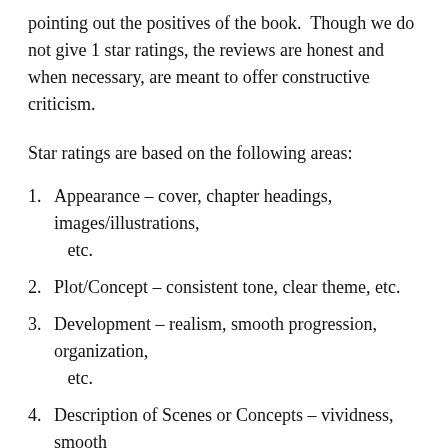pointing out the positives of the book.  Though we do not give 1 star ratings, the reviews are honest and when necessary, are meant to offer constructive criticism.
Star ratings are based on the following areas:
Appearance – cover, chapter headings, images/illustrations, etc.
Plot/Concept – consistent tone, clear theme, etc.
Development – realism, smooth progression, organization, etc.
Description of Scenes or Concepts – vividness, smooth transitions, etc.
Grammar/Typos – well written or numerous errors